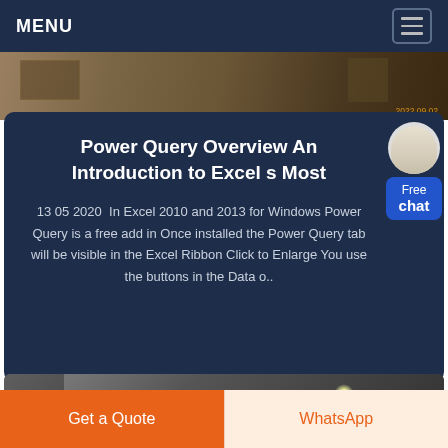MENU
[Figure (photo): Demolition/construction site photo strip with date watermark 2022.09.02]
Power Query Overview An Introduction to Excel s Most
13 05 2020  In Excel 2010 and 2013 for Windows Power Query is a free add in Once installed the Power Query tab will be visible in the Excel Ribbon Click to Enlarge You use the buttons in the Data o..
Chat Now
[Figure (photo): Industrial/workshop photo showing lights and equipment]
Get a Quote
WhatsApp